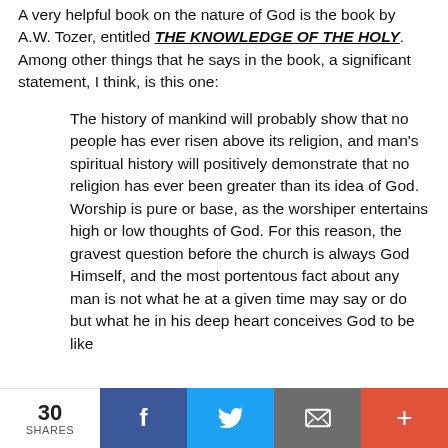A very helpful book on the nature of God is the book by A.W. Tozer, entitled THE KNOWLEDGE OF THE HOLY. Among other things that he says in the book, a significant statement, I think, is this one:
The history of mankind will probably show that no people has ever risen above its religion, and man's spiritual history will positively demonstrate that no religion has ever been greater than its idea of God. Worship is pure or base, as the worshiper entertains high or low thoughts of God. For this reason, the gravest question before the church is always God Himself, and the most portentous fact about any man is not what he at a given time may say or do but what he in his deep heart conceives God to be like
30 SHARES | Facebook | Twitter | Email | +